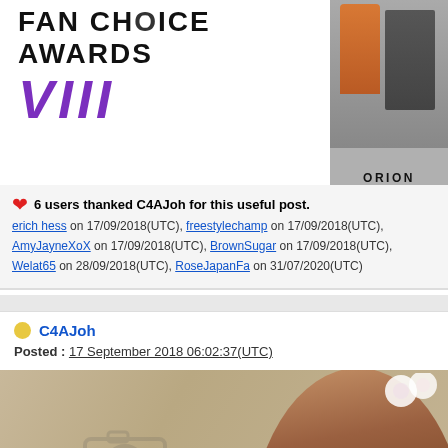[Figure (logo): Fan Choice Awards VIII logo with purple stylized text and a photo of two people on the right side with ORION label]
❤ 6 users thanked C4AJoh for this useful post.
erich hess on 17/09/2018(UTC), freestylechamp on 17/09/2018(UTC), AmyJayneXoX on 17/09/2018(UTC), BrownSugar on 17/09/2018(UTC), Welat65 on 28/09/2018(UTC), RoseJapanFa… on 31/07/2020(UTC)
C4AJoh
Posted : 17 September 2018 06:02:37(UTC)
[Figure (photo): Photo of a young woman with brown hair and white flower hair accessory, with a photobucket watermark overlay]